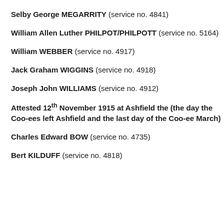Selby George MEGARRITY (service no. 4841)
William Allen Luther PHILPOT/PHILPOTT (service no. 5164)
William WEBBER (service no. 4917)
Jack Graham WIGGINS (service no. 4918)
Joseph John WILLIAMS (service no. 4912)
Attested 12th November 1915 at Ashfield the (the day the Coo-ees left Ashfield and the last day of the Coo-ee March)
Charles Edward BOW (service no. 4735)
Bert KILDUFF (service no. 4818)